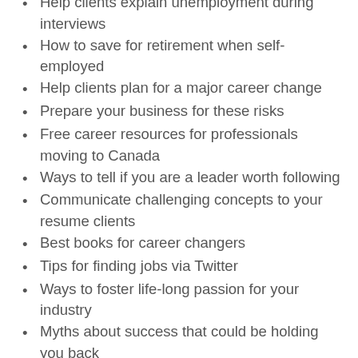Help clients explain unemployment during interviews
How to save for retirement when self-employed
Help clients plan for a major career change
Prepare your business for these risks
Free career resources for professionals moving to Canada
Ways to tell if you are a leader worth following
Communicate challenging concepts to your resume clients
Best books for career changers
Tips for finding jobs via Twitter
Ways to foster life-long passion for your industry
Myths about success that could be holding you back
Research on informational interviews
Surprising mistake that can kill your clients' job interview
Tips to help your clients find a job in another state